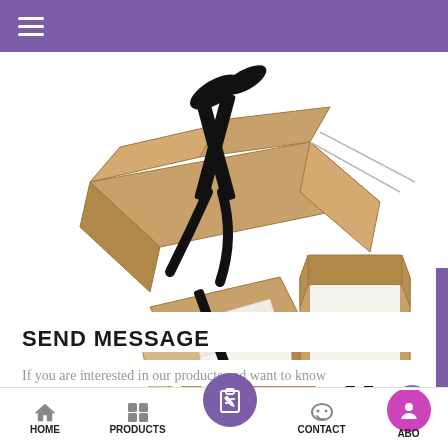Navigation header with hamburger menu
[Figure (photo): Product photos of kraft cardboard gift boxes with black ribbon ties, shown assembled, flat-pack, and open.]
SEND MESSAGE
If you are interested in our products and want to know
HOME | PRODUCTS | [message icon] | CONTACT | ABOUT